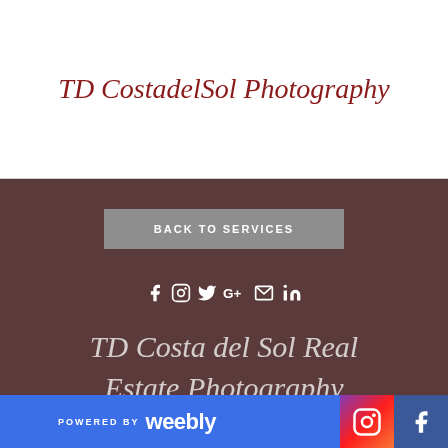TD CostadelSol Photography
BACK TO SERVICES
[Figure (infographic): Social media icons: Facebook, Instagram, Twitter, Google+, Email, LinkedIn]
TD Costa del Sol Real Estate Photography Services Photo Training Courses
POWERED BY weebly